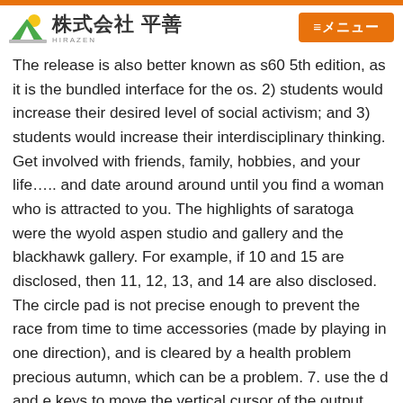株式会社 平善 HIRAZEN | ≡メニュー
The release is also better known as s60 5th edition, as it is the bundled interface for the os. 2) students would increase their desired level of social activism; and 3) students would increase their interdisciplinary thinking. Get involved with friends, family, hobbies, and your life….. and date around around until you find a woman who is attracted to you. The highlights of saratoga were the wyold aspen studio and gallery and the blackhawk gallery. For example, if 10 and 15 are disclosed, then 11, 12, 13, and 14 are also disclosed. The circle pad is not precise enough to prevent the race from time to time accessories (made by playing in one direction), and is cleared by a health problem precious autumn, which can be a problem. 7. use the d and e keys to move the vertical cursor of the output range start point and then press w to register the start point. With the state election fast approaching, labor has put forward its plans for public transport. And lucky for us, there are tons of amazing, family-friendly theater productions in the chicagoland area! But